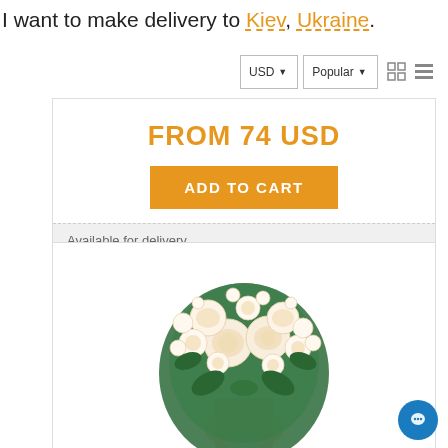I want to make delivery to Kiev, Ukraine.
USD ▼   Popular ▼
FROM 74 USD
ADD TO CART
Available for delivery
[Figure (photo): Bouquet of white and cream roses with green leaves, wrapped in pink paper, in a glass vase on white background]